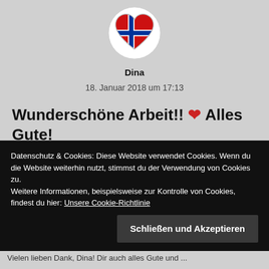[Figure (illustration): Heart-shaped avatar with Norwegian flag design (red, white, blue cross) on white background]
Dina
18. Januar 2018 um 17:13
Wunderschöne Arbeit!! ❤ Alles Gute!
★ Gefällt mir
Datenschutz & Cookies: Diese Website verwendet Cookies. Wenn du die Website weiterhin nutzt, stimmst du der Verwendung von Cookies zu.
Weitere Informationen, beispielsweise zur Kontrolle von Cookies, findest du hier: Unsere Cookie-Richtlinie
Schließen und Akzeptieren
Vielen lieben Dank, Dina! Dir auch alles Gute und...